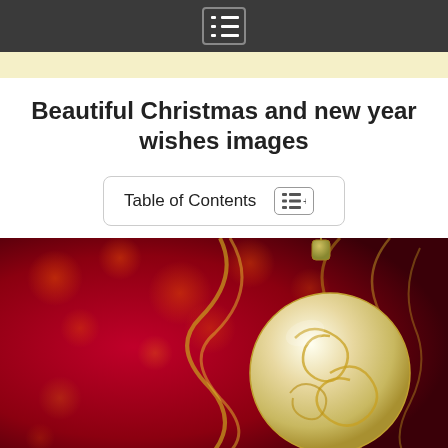Beautiful Christmas and new year wishes images
Table of Contents
[Figure (photo): A Christmas ornament — a cream/gold decorative ball with swirl patterns, hanging by a gold cap, against a bokeh red background with golden ribbon streamers and orange bokeh lights.]